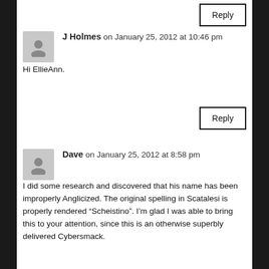Reply
J Holmes on January 25, 2012 at 10:46 pm
Hi EllieAnn.
Reply
Dave on January 25, 2012 at 8:58 pm
I did some research and discovered that his name has been improperly Anglicized. The original spelling in Scatalesi is properly rendered “Scheistino”. I’m glad I was able to bring this to your attention, since this is an otherwise superbly delivered Cybersmack.
Reply